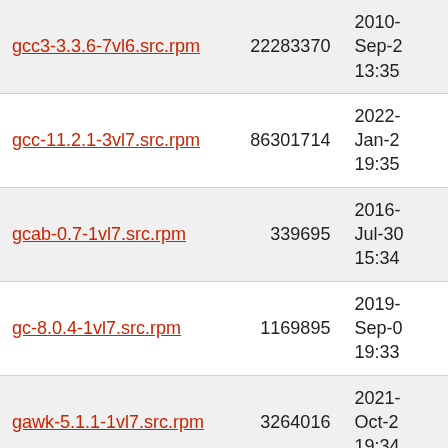| Filename | Size | Date |
| --- | --- | --- |
| gcc3-3.3.6-7vl6.src.rpm | 22283370 | 2010-Sep-2 13:35 |
| gcc-11.2.1-3vl7.src.rpm | 86301714 | 2022-Jan-2 19:35 |
| gcab-0.7-1vl7.src.rpm | 339695 | 2016-Jul-30 15:34 |
| gc-8.0.4-1vl7.src.rpm | 1169895 | 2019-Sep-0 19:33 |
| gawk-5.1.1-1vl7.src.rpm | 3264016 | 2021-Oct-2 19:34 |
| gavl-1.4.0-9vl7.src.rpm | 4601619 | 2016-Jul-11 03:33 |
| gauche-0.9.9-1vl7.src.rpm | 7216609 | 2020-Jan-0 07:33 |
| garcon-0.5.0-1vl7.src.rpm | 464067 | 2015-Apr-1 |